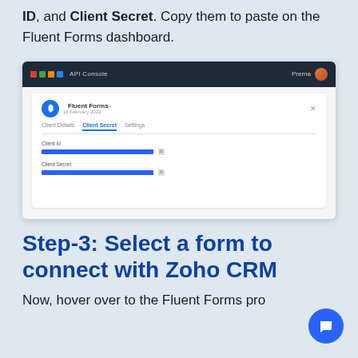Secret option. From there you can get the Client ID, and Client Secret. Copy them to paste on the Fluent Forms dashboard.
[Figure (screenshot): Zoho API Console screenshot showing a 'Fluent Forms' application card with tabs: Client Details, Client Secret, Settings. The Client Secret tab is active, showing Client Id and Client Secret fields with blue masked values and copy icons.]
Step-3: Select a form to connect with Zoho CRM
Now, hover over to the Fluent Forms pro